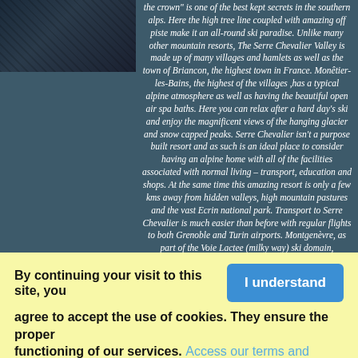[Figure (photo): Partial photo of a ski/mountain scene (dark image, top-left corner)]
the crown" is one of the best kept secrets in the southern alps. Here the high tree line coupled with amazing off piste make it an all-round ski paradise. Unlike many other mountain resorts, The Serre Chevalier Valley is made up of many villages and hamlets as well as the town of Briancon, the highest town in France. Monêtier-les-Bains, the highest of the villages ,has a typical alpine atmosphere as well as having the beautiful open air spa baths. Here you can relax after a hard day's ski and enjoy the magnificent views of the hanging glacier and snow capped peaks. Serre Chevalier isn't a purpose built resort and as such is an ideal place to consider having an alpine home with all of the facilities associated with normal living – transport, education and shops. At the same time this amazing resort is only a few kms away from hidden valleys, high mountain pastures and the vast Ecrin national park. Transport to Serre Chevalier is much easier than before with regular flights to both Grenoble and Turin airports. Montgenèvre, as part of the Voie Lactee (milky way) ski domain, Montgenèvre sits on the edge of the 3rd
By continuing your visit to this site, you agree to accept the use of cookies. They ensure the proper functioning of our services. Access our terms and conditons.